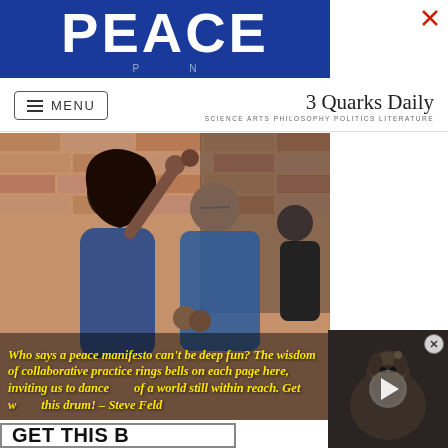[Figure (screenshot): Top banner advertisement with large white 'PEACE' text on blue background]
3 Quarks Daily — SCIENCE ARTS PHILOSOPHY POLITICS LITERATURE
[Figure (photo): Two people dancing outdoors near a brick building, a woman in a blue dress and a man in a blue t-shirt. Overlay text in yellow italic: 'Who says a peace manifesto can't be deep fun? The wisdom of collaborative practice rings bells on each page here, inviting us to dance of a world still within reach. Get w this drum! – Steve Feld']
[Figure (screenshot): Video player overlay thumbnail showing a dark image of an animal, with a play button in the center and a close X button]
GET THIS B